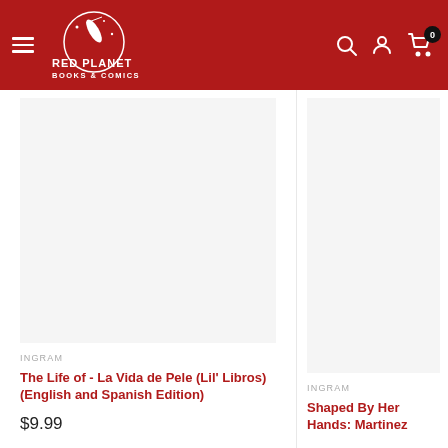[Figure (logo): Red Planet Books & Comics logo — white rocket/guitar graphic on red background with white text]
INGRAM
The Life of - La Vida de Pele (Lil' Libros) (English and Spanish Edition)
$9.99
INGRAM
Shaped By Her Hands: Martinez